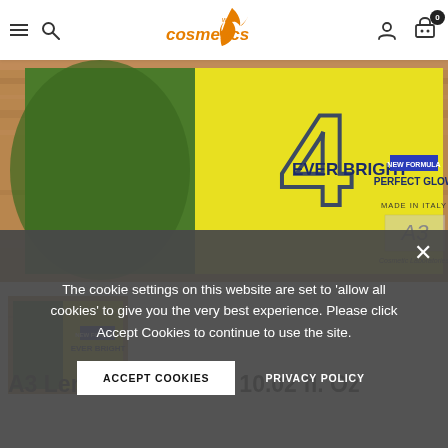cosmetics web — navigation header with hamburger menu, search icon, logo, user icon, cart (0)
[Figure (photo): Close-up photo of A3 Ever Bright New Formula Perfect Glow product box (yellow and green packaging) made in Italy by A3 Cosmetic Laboratories, on a wooden surface]
[Figure (photo): Thumbnail image of the same A3 Ever Bright product box on a wooden background]
The cookie settings on this website are set to 'allow all cookies' to give you the very best experience. Please click Accept Cookies to continue to use the site.
ACCEPT COOKIES
PRIVACY POLICY
A3 Lemon & ... Cream 10.02 fl. Oz